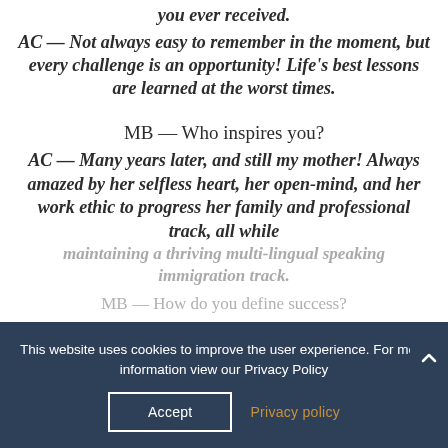you ever received.
AC — Not always easy to remember in the moment, but every challenge is an opportunity! Life's best lessons are learned at the worst times.
MB — Who inspires you?
AC — Many years later, and still my mother! Always amazed by her selfless heart, her open-mind, and her work ethic to progress her family and professional track, all while maintaining a thriving multi-lingual speaking immigration...
MB — How do you define success?
This website uses cookies to improve the user experience. For more information view our Privacy Policy
Accept
Privacy policy